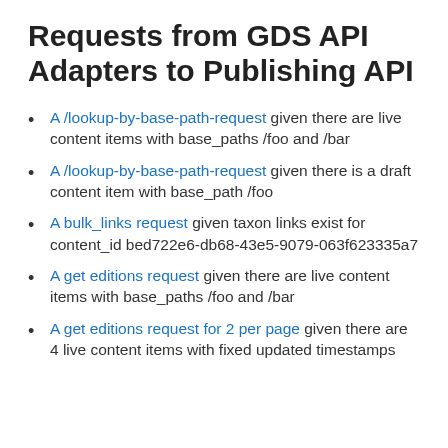Requests from GDS API Adapters to Publishing API
A /lookup-by-base-path-request given there are live content items with base_paths /foo and /bar
A /lookup-by-base-path-request given there is a draft content item with base_path /foo
A bulk_links request given taxon links exist for content_id bed722e6-db68-43e5-9079-063f623335a7
A get editions request given there are live content items with base_paths /foo and /bar
A get editions request for 2 per page given there are 4 live content items with fixed updated timestamps